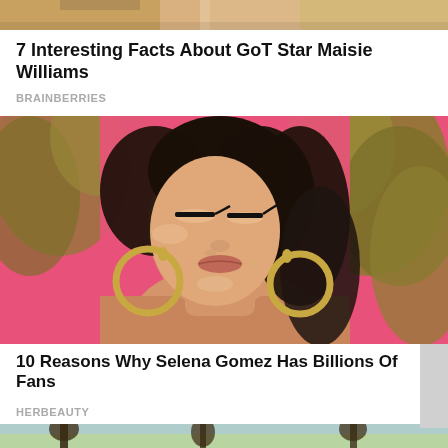[Figure (photo): Partial top strip of a celebrity photo cropped at top]
7 Interesting Facts About GoT Star Maisie Williams
BRAINBERRIES
[Figure (photo): Photo of a young woman with dark hair slicked back, large gold hoop earrings, eyes closed, against a bright pink background with green foliage. Selena Gomez promotional/editorial photo.]
10 Reasons Why Selena Gomez Has Billions Of Fans
HERBEAUTY
[Figure (photo): Partial bottom strip of another celebrity or outdoor photo, mostly cropped out]